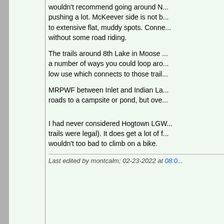wouldn't recommend going around N... pushing a lot. McKeever side is not b... to extensive flat, muddy spots. Conn... without some road riding.
The trails around 8th Lake in Moose ... a number of ways you could loop aro... low use which connects to those trail...
MRPWF between Inlet and Indian La... roads to a campsite or pond, but ove...
I had never considered Hogtown LGW... trails were legal). It does get a lot of f... wouldn't too bad to climb on a bike.
Last edited by montcalm; 02-23-2022 at 08:0...
02-23-2022, 01:54 AM
Sinite
Member
Thanks guys, this is very helpful!